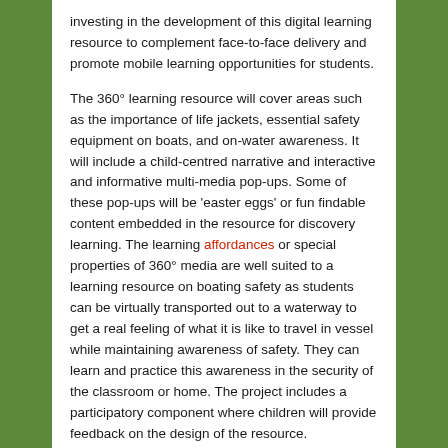investing in the development of this digital learning resource to complement face-to-face delivery and promote mobile learning opportunities for students.
The 360° learning resource will cover areas such as the importance of life jackets, essential safety equipment on boats, and on-water awareness. It will include a child-centred narrative and interactive and informative multi-media pop-ups. Some of these pop-ups will be 'easter eggs' or fun findable content embedded in the resource for discovery learning. The learning affordances or special properties of 360° media are well suited to a learning resource on boating safety as students can be virtually transported out to a waterway to get a real feeling of what it is like to travel in vessel while maintaining awareness of safety. They can learn and practice this awareness in the security of the classroom or home. The project includes a participatory component where children will provide feedback on the design of the resource.